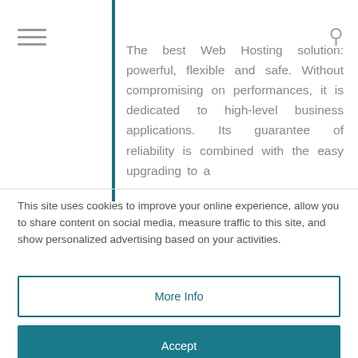The best Web Hosting solution: powerful, flexible and safe. Without compromising on performances, it is dedicated to high-level business applications. Its guarantee of reliability is combined with the easy upgrading to a
This site uses cookies to improve your online experience, allow you to share content on social media, measure traffic to this site, and show personalized advertising based on your activities.
More Info
Accept